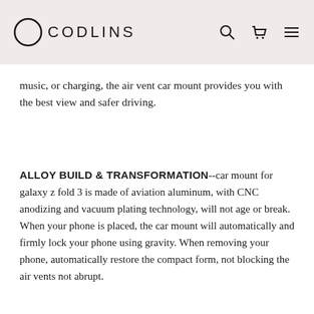CODLINS
music, or charging, the air vent car mount provides you with the best view and safer driving.
ALLOY BUILD & TRANSFORMATION--car mount for galaxy z fold 3 is made of aviation aluminum, with CNC anodizing and vacuum plating technology, will not age or break. When your phone is placed, the car mount will automatically and firmly lock your phone using gravity. When removing your phone, automatically restore the compact form, not blocking the air vents not abrupt.
WIDE COMPATIBILITY